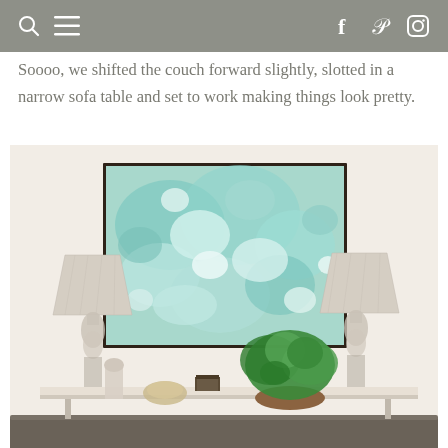navigation bar with search, menu, facebook, pinterest, instagram icons
Soooo, we shifted the couch forward slightly, slotted in a narrow sofa table and set to work making things look pretty.
[Figure (photo): Interior home decor photo showing a sofa table against a cream wall with a large teal/mint abstract framed painting, two table lamps with linen shades, a green plant in a wooden bowl, books, and decorative objects. The back of a dark sofa is visible at the bottom.]